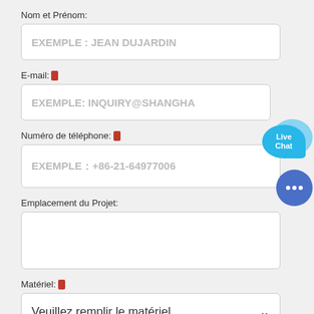Nom et Prénom:
EXEMPLE : JEAN DUJARDIN
E-mail: *
EXEMPLE: INQUIRY@SHANGHA
Numéro de téléphone: *
EXEMPLE：+86-21-64977006
Emplacement du Projet:
Matériel: *
Veuillez remplir le matériel
Capacité de Production:
EXEMPLE:200TPH
[Figure (illustration): Live Chat button with speech bubbles and a blue chat circle with dots]